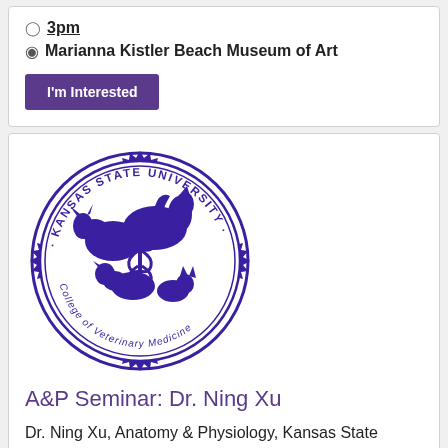3pm
Marianna Kistler Beach Museum of Art
I'm Interested
[Figure (logo): Kansas State University College of Veterinary Medicine circular seal/logo in purple, featuring animals (horse, cow, dog, cat) and a caduceus symbol]
A&P Seminar: Dr. Ning Xu
Dr. Ning Xu, Anatomy & Physiology, Kansas State University will present as part of the Fall 2019 A&P Seminar